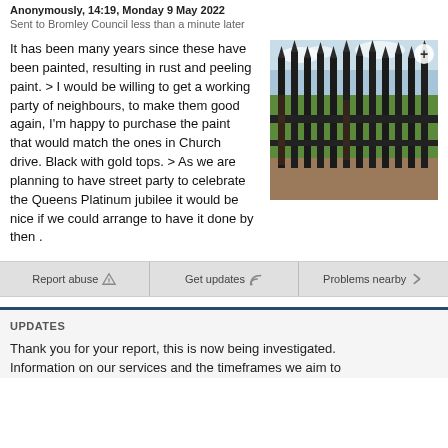Anonymously, 14:19, Monday 9 May 2022
Sent to Bromley Council less than a minute later
It has been many years since these have been painted, resulting in rust and peeling paint. > I would be willing to get a working party of neighbours, to make them good again, I'm happy to purchase the paint that would match the ones in Church drive. Black with gold tops. > As we are planning to have street party to celebrate the Queens Platinum jubilee it would be nice if we could arrange to have it done by then .
[Figure (photo): Photo of rusty iron railings/fence with pointed tops, showing peeling black paint and rust, with green grass and sky visible in background. A plus icon in top-right corner.]
Report abuse
Get updates
Problems nearby
UPDATES
Thank you for your report, this is now being investigated. Information on our services and the timeframes we aim to